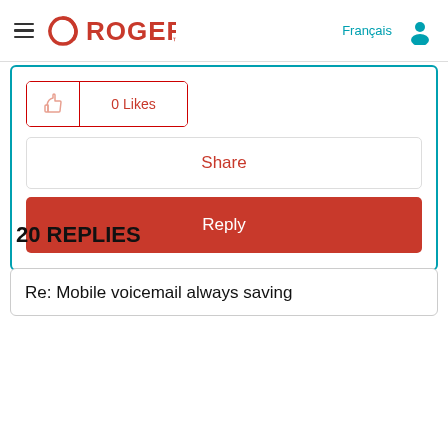Rogers
[Figure (screenshot): Likes button with thumbs up icon and '0 Likes' text, Share button, and Reply button inside a teal-bordered card]
20 REPLIES
Re: Mobile voicemail always saving